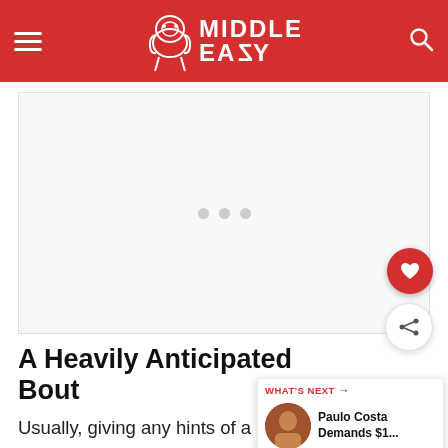Middle Easy
[Figure (photo): Advertisement placeholder area with three dots indicating loading content]
A Heavily Anticipated Bout
Usually, giving any hints of a game pla... frowned upon. Especially against such a tactical
[Figure (infographic): What's Next widget showing Paulo Costa Demands $1...]